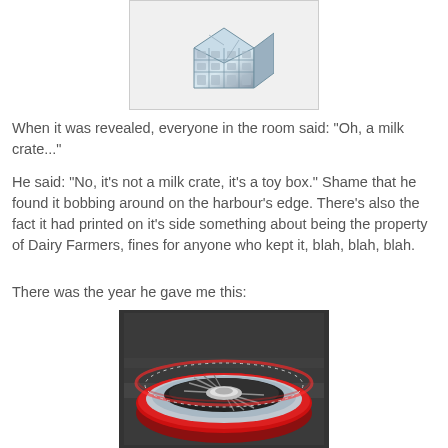[Figure (photo): A metal milk crate / toy box, chrome or metallic, viewed from a slight angle above, with grid pattern sides.]
When it was revealed, everyone in the room said: "Oh, a milk crate..."
He said: "No, it's not a milk crate, it's a toy box." Shame that he found it bobbing around on the harbour's edge. There's also the fact it had printed on it's side something about being the property of Dairy Farmers, fines for anyone who kept it, blah, blah, blah.
There was the year he gave me this:
[Figure (photo): Close-up photo of a red and chrome car wheel / hubcap, with a grill-like metallic center, dark blurred background.]